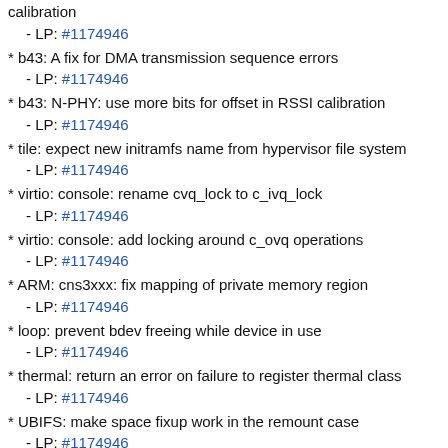calibration
  - LP: #1174946
* b43: A fix for DMA transmission sequence errors
  - LP: #1174946
* b43: N-PHY: use more bits for offset in RSSI calibration
  - LP: #1174946
* tile: expect new initramfs name from hypervisor file system
  - LP: #1174946
* virtio: console: rename cvq_lock to c_ivq_lock
  - LP: #1174946
* virtio: console: add locking around c_ovq operations
  - LP: #1174946
* ARM: cns3xxx: fix mapping of private memory region
  - LP: #1174946
* loop: prevent bdev freeing while device in use
  - LP: #1174946
* thermal: return an error on failure to register thermal class
  - LP: #1174946
* UBIFS: make space fixup work in the remount case
  - LP: #1174946
* reiserfs: Fix warning and inode leak when deleting inode with xattrs